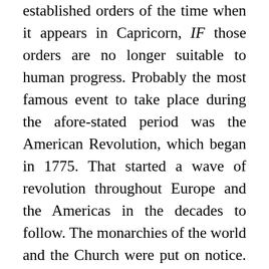established orders of the time when it appears in Capricorn, IF those orders are no longer suitable to human progress. Probably the most famous event to take place during the afore-stated period was the American Revolution, which began in 1775. That started a wave of revolution throughout Europe and the Americas in the decades to follow. The monarchies of the world and the Church were put on notice. It signaled a marked period of political upheaval. It was the period of The Wealth of Nations, the Cook voyages in the Pacific, Catherine the Great in Russia, and various and sundry wars. But Saturn did not join Pluto in Capricorn during that period.